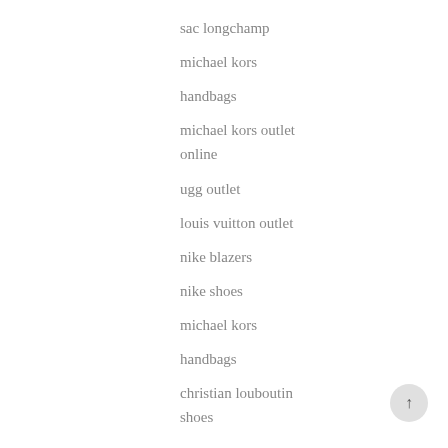michael kors outlet
sac longchamp
michael kors
handbags
michael kors outlet online
ugg outlet
louis vuitton outlet
nike blazers
nike shoes
michael kors
handbags
christian louboutin shoes
louis vuitton outlet
nike air max shoes
fitflops
moncler outlet